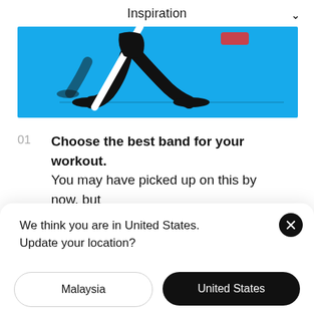Inspiration
[Figure (illustration): Illustration of a person's legs running or walking on a blue background, wearing black pants, with a white diagonal bar visible.]
01   Choose the best band for your workout. You may have picked up on this by now, but
We think you are in United States. Update your location?
Malaysia
United States